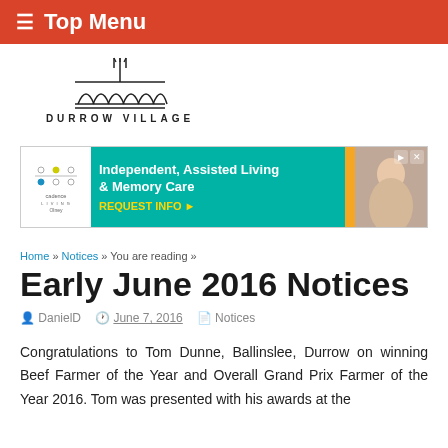≡ Top Menu
[Figure (logo): Durrow Village logo with arched bridge and trident symbol]
[Figure (infographic): Advertisement for Cadence Living Olney: Independent, Assisted Living & Memory Care — REQUEST INFO]
Home » Notices » You are reading »
Early June 2016 Notices
DanielD   June 7, 2016   Notices
Congratulations to Tom Dunne, Ballinslee, Durrow on winning Beef Farmer of the Year and Overall Grand Prix Farmer of the Year 2016. Tom was presented with his awards at the